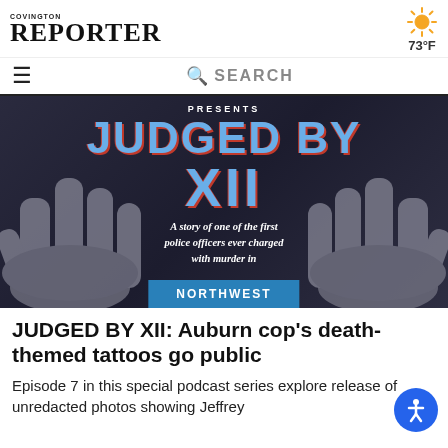COVINGTON REPORTER
73°F
SEARCH
[Figure (photo): Hero image for the JUDGED BY XII podcast series showing two hands laid flat on a dark surface with the text 'PRESENTS', 'JUDGED BY XII', 'A story of one of the first police officers ever charged with murder in', and a NORTHWEST badge overlay.]
JUDGED BY XII: Auburn cop's death-themed tattoos go public
Episode 7 in this special podcast series explore release of unredacted photos showing Jeffrey